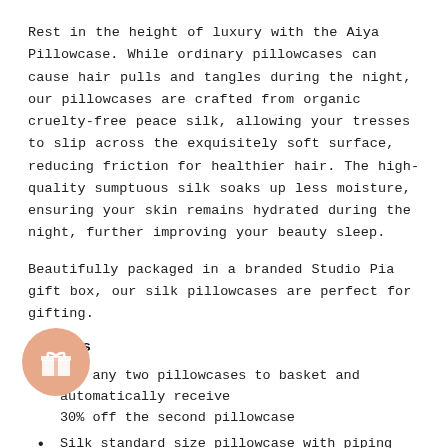Rest in the height of luxury with the Aiya Pillowcase. While ordinary pillowcases can cause hair pulls and tangles during the night, our pillowcases are crafted from organic cruelty-free peace silk, allowing your tresses to slip across the exquisitely soft surface, reducing friction for healthier hair. The high-quality sumptuous silk soaks up less moisture, ensuring your skin remains hydrated during the night, further improving your beauty sleep.
Beautifully packaged in a branded Studio Pia gift box, our silk pillowcases are perfect for gifting.
Details
Add any two pillowcases to basket and automatically receive 30% off the second pillowcase
Silk standard size pillowcase with piping detail
et red cruelty-free, organic, silk satin
ete with branded matchbox gift box
Ethically crafted in Romania